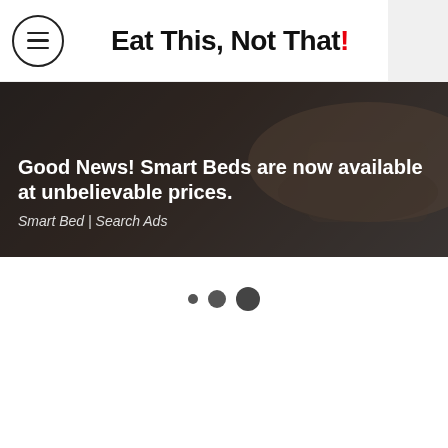Eat This, Not That!
[Figure (screenshot): Advertisement banner with dark background showing a Smart Bed advertisement. Text overlay reads: 'Good News! Smart Beds are now available at unbelievable prices.' with source 'Smart Bed | Search Ads']
Good News! Smart Beds are now available at unbelievable prices.
Smart Bed | Search Ads
[Figure (other): Three pagination dots of increasing size (small, medium, large) indicating a carousel position]